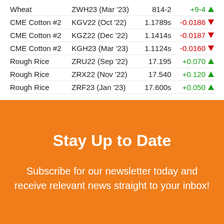| Name | Ticker | Price | Change |
| --- | --- | --- | --- |
| Wheat | ZWH23 (Mar '23) | 814-2 | +9-4 ↑ |
| CME Cotton #2 | KGV22 (Oct '22) | 1.1789s | -0.0186 ↓ |
| CME Cotton #2 | KGZ22 (Dec '22) | 1.1414s | -0.0187 ↓ |
| CME Cotton #2 | KGH23 (Mar '23) | 1.1124s | -0.0160 ↓ |
| Rough Rice | ZRU22 (Sep '22) | 17.195 | +0.070 ↑ |
| Rough Rice | ZRX22 (Nov '22) | 17.540 | +0.120 ↑ |
| Rough Rice | ZRF23 (Jan '23) | 17.600s | +0.050 ↑ |
Stay Up to Date
Subscribe for our newsletter today and receive relevant news straight to your inbox!